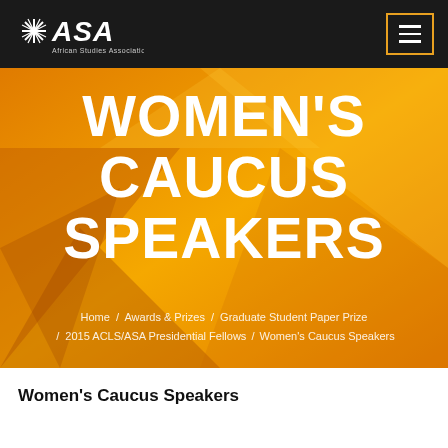ASA African Studies Association
[Figure (illustration): Orange geometric abstract background with large bold white text reading WOMEN'S CAUCUS SPEAKERS, with breadcrumb navigation below]
WOMEN'S CAUCUS SPEAKERS
Home / Awards & Prizes / Graduate Student Paper Prize / 2015 ACLS/ASA Presidential Fellows / Women's Caucus Speakers
Women's Caucus Speakers